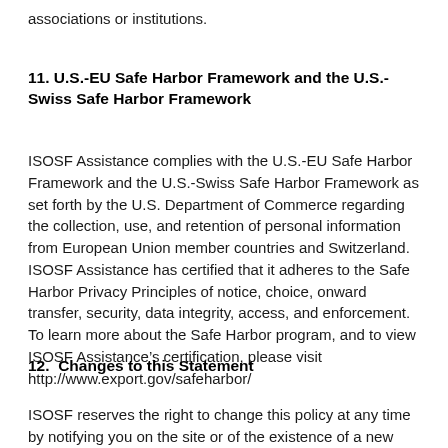associations or institutions.
11. U.S.-EU Safe Harbor Framework and the U.S.-Swiss Safe Harbor Framework
ISOSF Assistance complies with the U.S.-EU Safe Harbor Framework and the U.S.-Swiss Safe Harbor Framework as set forth by the U.S. Department of Commerce regarding the collection, use, and retention of personal information from European Union member countries and Switzerland. ISOSF Assistance has certified that it adheres to the Safe Harbor Privacy Principles of notice, choice, onward transfer, security, data integrity, access, and enforcement. To learn more about the Safe Harbor program, and to view ISOSF Assistance’s certification, please visit http://www.export.gov/safeharbor/
12.  Changes to this Statement
ISOSF reserves the right to change this policy at any time by notifying you on the site or of the existence of a new privacy statement. This